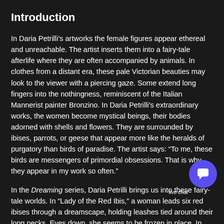Introduction
In Daria Petrilli’s artworks the female figures appear ethereal and unreachable. The artist inserts them into a fairy-tale afterlife where they are often accompanied by animals. In clothes from a distant era, these pale Victorian beauties may look to the viewer with a piercing gaze. Some extend long fingers into the nothingness, reminiscent of the Italian Mannerist painter Bronzino. In Daria Petrilli’s extraordinary works, the women become mystical beings, their bodies adorned with shells and flowers. They are surrounded by ibises, parrots, or geese that appear more like the heralds of purgatory than birds of paradise. The artist says: “To me, these birds are messengers of primordial obsessions. That is why they appear in my work so often.”
In the Dreaming series, Daria Petrilli brings us into these fairy-tale worlds. In “Lady of the Red Ibis,” a woman leads six red ibises through a dreamscape, holding leashes tied around their long necks. Eyes down, she seems to be frozen in place. In "Dual